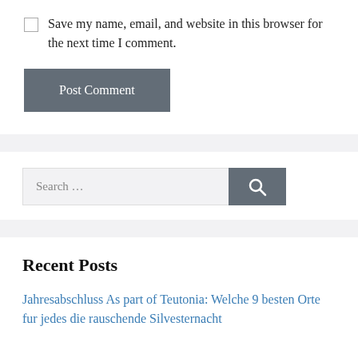Save my name, email, and website in this browser for the next time I comment.
Post Comment
Search …
Recent Posts
Jahresabschluss As part of Teutonia: Welche 9 besten Orte fur jedes die rauschende Silvesternacht